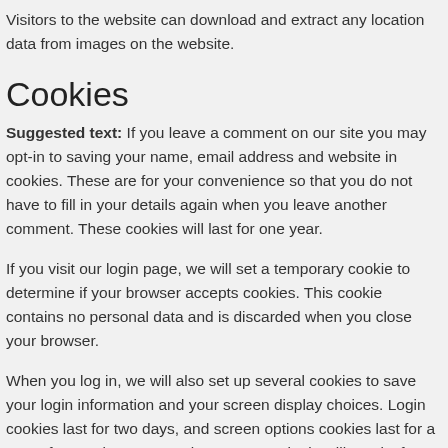Visitors to the website can download and extract any location data from images on the website.
Cookies
Suggested text: If you leave a comment on our site you may opt-in to saving your name, email address and website in cookies. These are for your convenience so that you do not have to fill in your details again when you leave another comment. These cookies will last for one year.
If you visit our login page, we will set a temporary cookie to determine if your browser accepts cookies. This cookie contains no personal data and is discarded when you close your browser.
When you log in, we will also set up several cookies to save your login information and your screen display choices. Login cookies last for two days, and screen options cookies last for a year. If you select "Remember Me", your login will persist for two weeks. If you log out of your account, the login cookies will be removed.